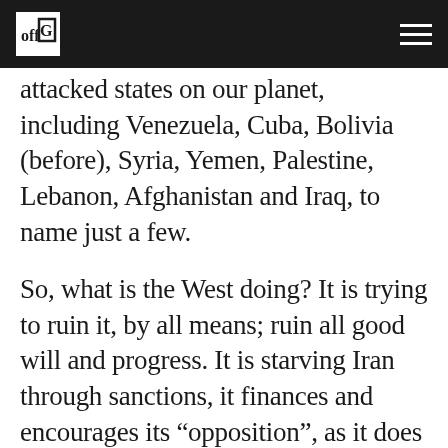offGuardian logo and navigation
attacked states on our planet, including Venezuela, Cuba, Bolivia (before), Syria, Yemen, Palestine, Lebanon, Afghanistan and Iraq, to name just a few.
So, what is the West doing? It is trying to ruin it, by all means; ruin all good will and progress. It is starving Iran through sanctions, it finances and encourages its “opposition”, as it does in China, Russia and Latin America. It is trying to destroy it.
Then, it just bombs their convoy in neighboring